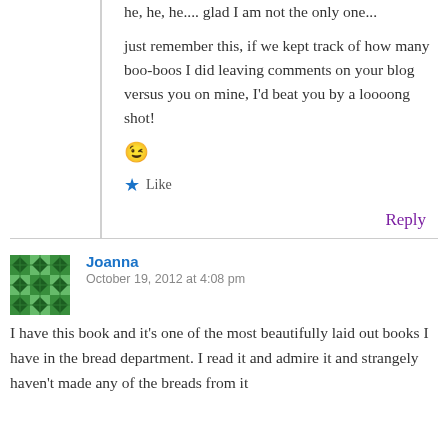he, he, he.... glad I am not the only one...
just remember this, if we kept track of how many boo-boos I did leaving comments on your blog versus you on mine, I'd beat you by a loooong shot! 😉
★ Like
Reply
[Figure (illustration): Green avatar/profile picture with geometric diamond/cross grid pattern in darker green]
Joanna
October 19, 2012 at 4:08 pm
I have this book and it's one of the most beautifully laid out books I have in the bread department. I read it and admire it and strangely haven't made any of the breads from it